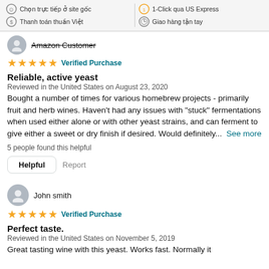Chọn trực tiếp ở site gốc | Thanh toán thuần Việt | 1-Click qua US Express | Giao hàng tận tay
Amazon Customer
★★★★★ Verified Purchase
Reliable, active yeast
Reviewed in the United States on August 23, 2020
Bought a number of times for various homebrew projects - primarily fruit and herb wines. Haven't had any issues with "stuck" fermentations when used either alone or with other yeast strains, and can ferment to give either a sweet or dry finish if desired. Would definitely...  See more
5 people found this helpful
Helpful   Report
John smith
★★★★★ Verified Purchase
Perfect taste.
Reviewed in the United States on November 5, 2019
Great tasting wine with this yeast. Works fast. Normally it